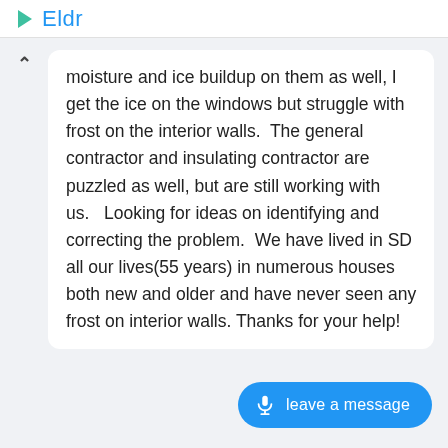Eldr
moisture and ice buildup on them as well, I get the ice on the windows but struggle with frost on the interior walls.  The general contractor and insulating contractor are puzzled as well, but are still working with us.   Looking for ideas on identifying and correcting the problem.  We have lived in SD all our lives(55 years) in numerous houses both new and older and have never seen any frost on interior walls.  Thanks for your help!
leave a message